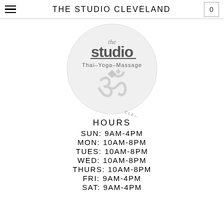THE STUDIO CLEVELAND
[Figure (logo): The Studio Cleveland circular logo featuring 'the studio' text, 'Thai-Yoga-Massage' subtitle, Om symbol, and 'Cleveland Flats East Bank' text around the circle border]
HOURS
SUN: 9AM-4PM
MON: 10AM-8PM
TUES: 10AM-8PM
WED: 10AM-8PM
THURS: 10AM-8PM
FRI: 9AM-4PM
SAT: 9AM-4PM